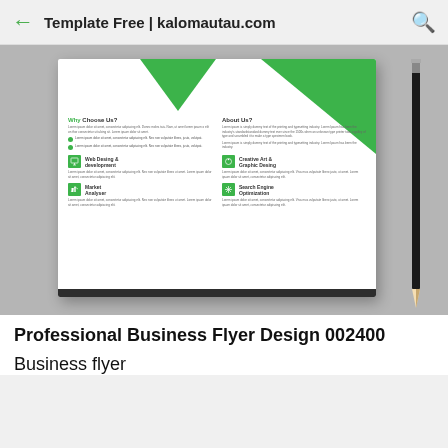Template Free | kalomautau.com
[Figure (screenshot): A professional business flyer design mockup showing a white flyer with green geometric decorations, titled 'Why Choose Us?' and 'About Us?' with service sections for Web Desing & development, Creative Art & Graphic Desing, Market Analyser, and Search Engine Optimization. A pencil rests to the right of the flyer on a gray surface.]
Professional Business Flyer Design 002400
Business flyer